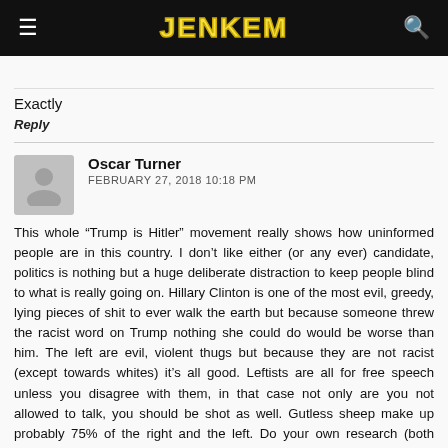JENKEM
Exactly
Reply
Oscar Turner
FEBRUARY 27, 2018 10:18 PM
This whole “Trump is Hitler” movement really shows how uninformed people are in this country. I don’t like either (or any ever) candidate, politics is nothing but a huge deliberate distraction to keep people blind to what is really going on. Hillary Clinton is one of the most evil, greedy, lying pieces of shit to ever walk the earth but because someone threw the racist word on Trump nothing she could do would be worse than him. The left are evil, violent thugs but because they are not racist (except towards whites) it’s all good. Leftists are all for free speech unless you disagree with them, in that case not only are you not allowed to talk, you should be shot as well. Gutless sheep make up probably 75% of the right and the left. Do your own research (both sides), read, and live a good life. Throw your TV’s, newspapers, and magazines in the trash.
TRUTH IS NOT RACISM, PRIDE IS NOT HATE!